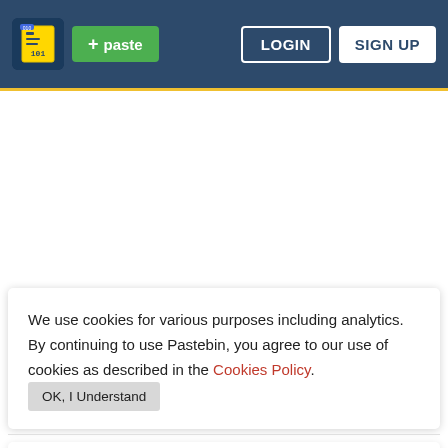Pastebin navigation bar with logo, paste button, LOGIN, SIGN UP
Advertisement
We use cookies for various purposes including analytics. By continuing to use Pastebin, you agree to our use of cookies as described in the Cookies Policy. OK, I Understand
Not a member of Pastebin yet? Sign Up, it unlocks many cool features!
[Figure (infographic): HELLO speech bubble icon]
[Figure (infographic): Tally PayOff Debt Faster advertisement card with colorful shapes and app icon]